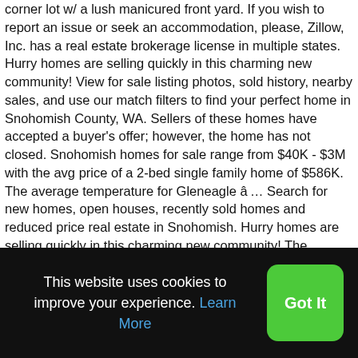corner lot w/ a lush manicured front yard. If you wish to report an issue or seek an accommodation, please, Zillow, Inc. has a real estate brokerage license in multiple states. Hurry homes are selling quickly in this charming new community! View for sale listing photos, sold history, nearby sales, and use our match filters to find your perfect home in Snohomish County, WA. Sellers of these homes have accepted a buyer's offer; however, the home has not closed. Snohomish homes for sale range from $40K - $3M with the avg price of a 2-bed single family home of $586K. The average temperature for Gleneagle â… Search for new homes, open houses, recently sold homes and reduced price real estate in Snohomish. Hurry homes are selling quickly in this charming new community! The average price of homes sold in Snohomish, WA is $ 630,000. From senior citizens to young couples to kids, this place makes people of all ages fall in love with its history and nature. Si...
This website uses cookies to improve your experience. Learn More